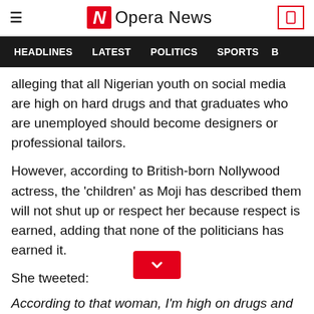Opera News
HEADLINES  LATEST  POLITICS  SPORTS
alleging that all Nigerian youth on social media are high on hard drugs and that graduates who are unemployed should become designers or professional tailors.
However, according to British-born Nollywood actress, the 'children' as Moji has described them will not shut up or respect her because respect is earned, adding that none of the politicians has earned it.
She tweeted:
According to that woman, I'm high on drugs and so are